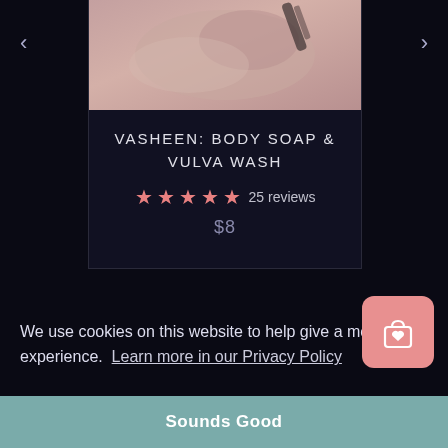[Figure (photo): Product photo of body soap and vulva wash, close-up pink/cream toned image]
VASHEEN: BODY SOAP & VULVA WASH
★★★★★ 25 reviews
$8
We use cookies on this website to help give a modern experience.  Learn more in our Privacy Policy
Sounds Good